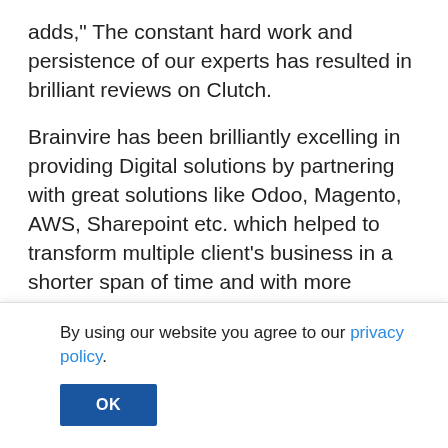adds," The constant hard work and persistence of our experts has resulted in brilliant reviews on Clutch.
Brainvire has been brilliantly excelling in providing Digital solutions by partnering with great solutions like Odoo, Magento, AWS, Sharepoint etc. which helped to transform multiple client's business in a shorter span of time and with more accuracy. There are multiple case studies of 100% automation including 3d printer supplier based in New York, Diamond retailed based in Texas, eminent Wealth management company in East coast, and many
By using our website you agree to our privacy policy.